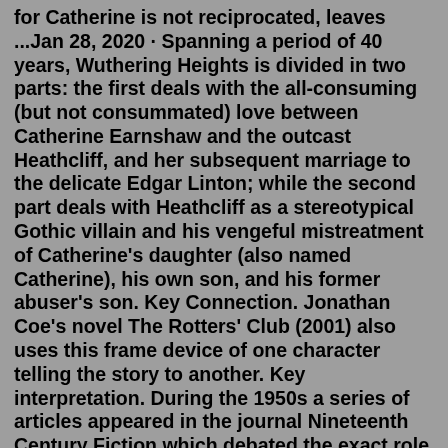for Catherine is not reciprocated, leaves ...Jan 28, 2020 · Spanning a period of 40 years, Wuthering Heights is divided in two parts: the first deals with the all-consuming (but not consummated) love between Catherine Earnshaw and the outcast Heathcliff, and her subsequent marriage to the delicate Edgar Linton; while the second part deals with Heathcliff as a stereotypical Gothic villain and his vengeful mistreatment of Catherine's daughter (also named Catherine), his own son, and his former abuser's son. Key Connection. Jonathan Coe's novel The Rotters' Club (2001) also uses this frame device of one character telling the story to another. Key interpretation. During the 1950s a series of articles appeared in the journal Nineteenth Century Fiction which debated the exact role of the narrators. John K. Mathison ('Nelly Dean and the Power of Wuthering Heights', 1956) argued that 'Nelly ...After his own son's death, he drifts through life, torturing Catherine and Hindley's son Hareton and contemplating